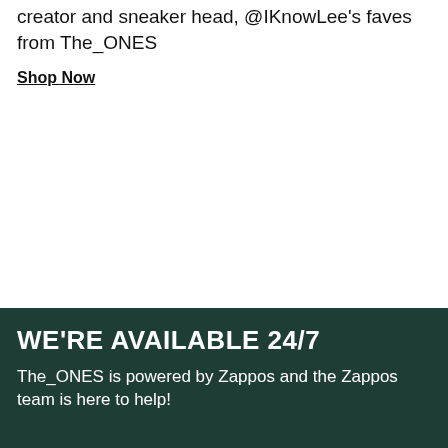creator and sneaker head, @IKnowLee's faves from The_ONES
Shop Now
WE'RE AVAILABLE 24/7
The_ONES is powered by Zappos and the Zappos team is here to help!